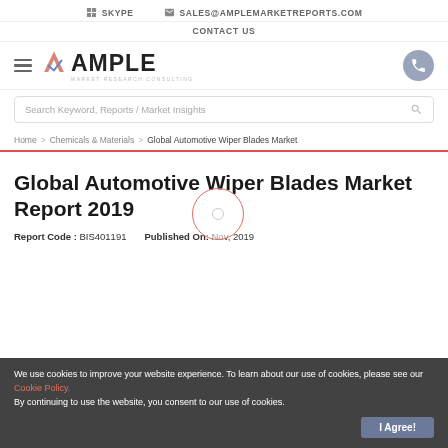SKYPE   SALES@AMPLEMARKETREPORTS.COM
CONTACT US
[Figure (logo): Ample Market Research Consulting logo with hamburger menu icon and phone button]
Search Keyword, Reports / Market Insights
Home > Chemicals & Materials > Global Automotive Wiper Blades Market
Global Automotive Wiper Blades Market Report 2019
Report Code : BIS401191   Published On: Nov, 2019
We use cookies to improve your website experience. To learn about our use of cookies, please see our Cookie Policy. By continuing to use the website, you consent to our use of cookies.